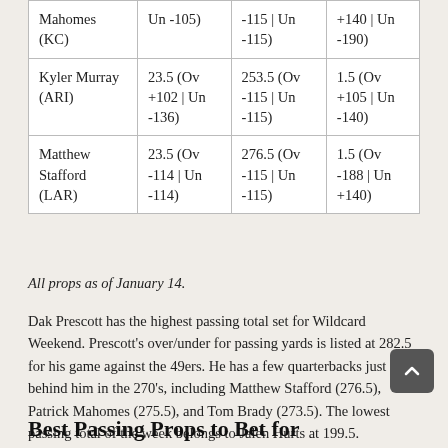| Player | Rush/Rec Yards | Pass Yards | TDs |
| --- | --- | --- | --- |
| Mahomes (KC) | Un -105) | -115 | Un -115) | +140 | Un -190) |
| Kyler Murray (ARI) | 23.5 (Ov +102 | Un -136) | 253.5 (Ov -115 | Un -115) | 1.5 (Ov +105 | Un -140) |
| Matthew Stafford (LAR) | 23.5 (Ov -114 | Un -114) | 276.5 (Ov -115 | Un -115) | 1.5 (Ov -188 | Un +140) |
All props as of January 14.
Dak Prescott has the highest passing total set for Wildcard Weekend. Prescott's over/under for passing yards is listed at 282.5 for his game against the 49ers. He has a few quarterbacks just behind him in the 270's, including Matthew Stafford (276.5), Patrick Mahomes (275.5), and Tom Brady (273.5). The lowest passing total of the week belongs to Jalen Hurts at 199.5.
Best Passing Props to Bet for